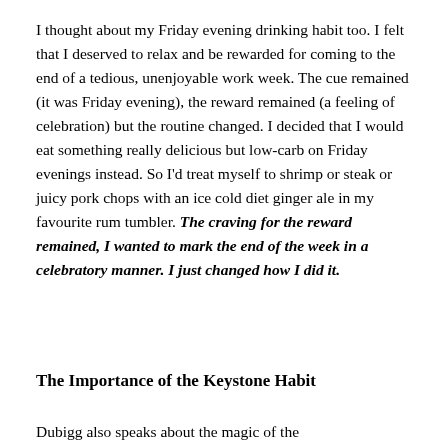I thought about my Friday evening drinking habit too. I felt that I deserved to relax and be rewarded for coming to the end of a tedious, unenjoyable work week. The cue remained (it was Friday evening), the reward remained (a feeling of celebration) but the routine changed. I decided that I would eat something really delicious but low-carb on Friday evenings instead. So I'd treat myself to shrimp or steak or juicy pork chops with an ice cold diet ginger ale in my favourite rum tumbler. The craving for the reward remained, I wanted to mark the end of the week in a celebratory manner. I just changed how I did it.
The Importance of the Keystone Habit
Dubigg also speaks about the magic of the